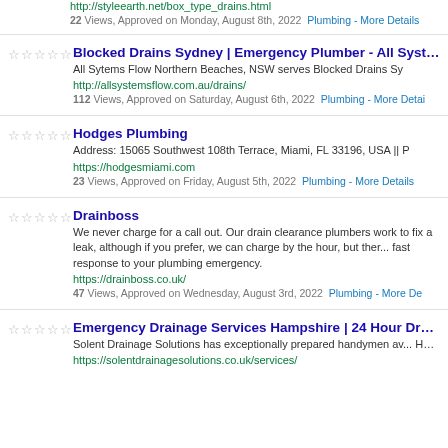India. http://styleearth.net/box_type_drains.html 22 Views, Approved on Monday, August 8th, 2022 Plumbing - More Details
Blocked Drains Sydney | Emergency Plumber - All Systems flow
All Sytems Flow Northern Beaches, NSW serves Blocked Drains Sy...
http://allsystemsflow.com.au/drains/
112 Views, Approved on Saturday, August 6th, 2022 Plumbing - More Detai...
Hodges Plumbing
Address: 15065 Southwest 108th Terrace, Miami, FL 33196, USA || P...
https://hodgesmiami.com
23 Views, Approved on Friday, August 5th, 2022 Plumbing - More Details
Drainboss
We never charge for a call out. Our drain clearance plumbers work to fix a leak, although if you prefer, we can charge by the hour, but there... fast response to your plumbing emergency.
https://drainboss.co.uk/
47 Views, Approved on Wednesday, August 3rd, 2022 Plumbing - More De...
Emergency Drainage Services Hampshire | 24 Hour Drain Servic...
Solent Drainage Solutions has exceptionally prepared handymen av... Hampshire. Call us whenever at 07488823841
https://solentdrainagesolutions.co.uk/services/